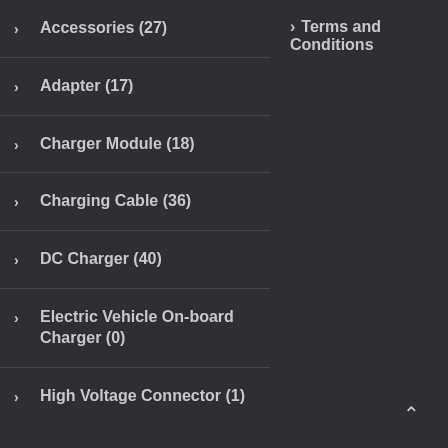> Accessories (27)
> Terms and Conditions
> Adapter (17)
> Charger Module (18)
> Charging Cable (36)
> DC Charger (40)
> Electric Vehicle On-board Charger (0)
> High Voltage Connector (1)